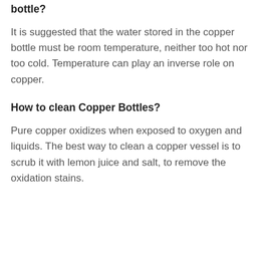bottle?
It is suggested that the water stored in the copper bottle must be room temperature, neither too hot nor too cold. Temperature can play an inverse role on copper.
How to clean Copper Bottles?
Pure copper oxidizes when exposed to oxygen and liquids. The best way to clean a copper vessel is to scrub it with lemon juice and salt, to remove the oxidation stains.